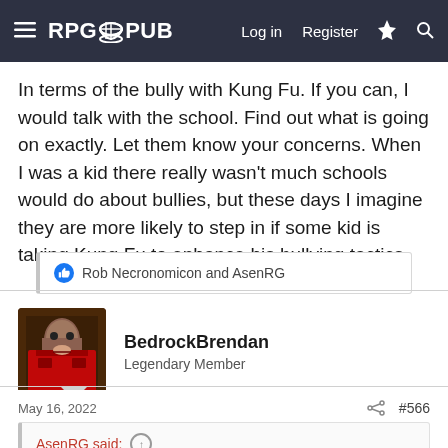RPG PUB | Log in | Register
In terms of the bully with Kung Fu. If you can, I would talk with the school. Find out what is going on exactly. Let them know your concerns. When I was a kid there really wasn't much schools would do about bullies, but these days I imagine they are more likely to step in if some kid is taking Kung Fu to enhance his bullying tactics.
Rob Necronomicon and AsenRG
BedrockBrendan
Legendary Member
May 16, 2022  #566
AsenRG said:
I can't picture this, unless the bamboo was set in a horizontal position?